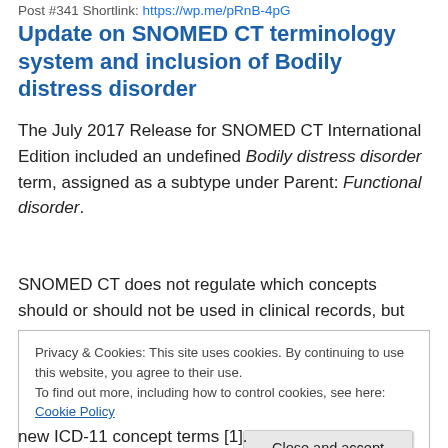Post #341 Shortlink: https://wp.me/pRnB-4pG
Update on SNOMED CT terminology system and inclusion of Bodily distress disorder
The July 2017 Release for SNOMED CT International Edition included an undefined Bodily distress disorder term, assigned as a subtype under Parent: Functional disorder.
SNOMED CT does not regulate which concepts should or should not be used in clinical records, but makes concepts available within its system in response to submissions for
Privacy & Cookies: This site uses cookies. By continuing to use this website, you agree to their use.
To find out more, including how to control cookies, see here: Cookie Policy
new ICD-11 concept terms [1].